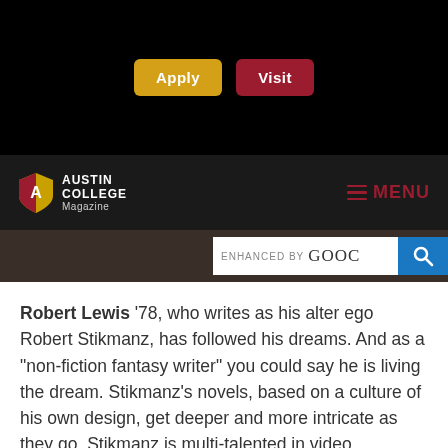[Figure (screenshot): Navigation bar with Apply (gold) and Visit (dark red) buttons on black background]
[Figure (logo): Austin College Magazine logo with shield icon in white on dark background, MENU button in dark red on right]
[Figure (screenshot): Search bar with 'ENHANCED BY Gooc' text and blue search button]
Robert Lewis '78, who writes as his alter ego Robert Stikmanz, has followed his dreams. And as a "non-fiction fantasy writer" you could say he is living the dream. Stikmanz's novels, based on a culture of his own design, get deeper and more intricate as they go. Stikmanz is multi-talented in video production, illustration, writing, and composing. His most recent book, Rose Moon, was released in October. To learn more about The Land of Nod and Stikmanz, visit his website.